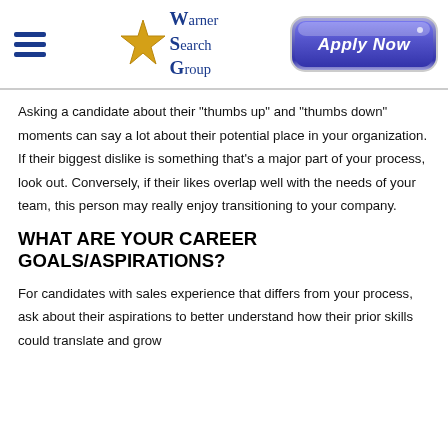Warner Search Group | Apply Now
Asking a candidate about their "thumbs up" and "thumbs down" moments can say a lot about their potential place in your organization. If their biggest dislike is something that's a major part of your process, look out. Conversely, if their likes overlap well with the needs of your team, this person may really enjoy transitioning to your company.
WHAT ARE YOUR CAREER GOALS/ASPIRATIONS?
For candidates with sales experience that differs from your process, ask about their aspirations to better understand how their prior skills could translate and grow